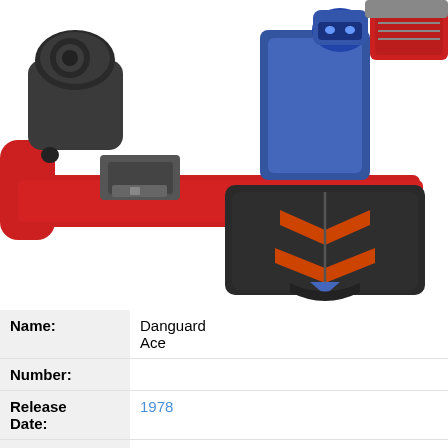[Figure (photo): Close-up photo of a Danguard Ace robot toy/figure. The figure is predominantly red and dark gray/charcoal with blue metallic accents. Visible features include the robot's chest area with a distinctive dark panel featuring orange/red chevron-like wing markings, red shoulder/torso frame pieces, and dark mechanical arm components. The background is white.]
| Name: | Danguard Ace |
| Number: |  |
| Release Date: | 1978 |
| Scale: |  |